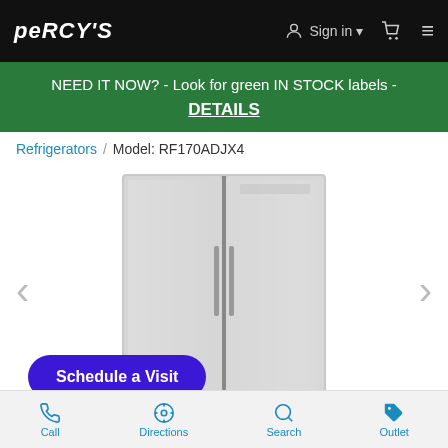PERCYS | Sign in | Cart | Menu
NEED IT NOW? - Look for green IN STOCK labels - DETAILS
Refrigerators / Model: RF170ADJX4
[Figure (photo): Stainless steel French door refrigerator model RF170ADJX4, shown with two side-by-side doors and vertical bar handles, with navigation arrows on left and right and a Schedule a Visit button overlay.]
Call | Directions | Search | Outlet